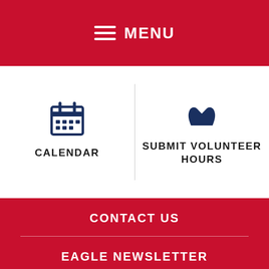MENU
CALENDAR
SUBMIT VOLUNTEER HOURS
CONTACT US
EAGLE NEWSLETTER
CAREERS
[Figure (map): Bottom strip showing a map with Cherry Creek State Park label]